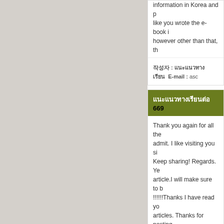information in Korea and p like you wrote the e-book i however other than that, th
작성자 : แนะแนวทางเรียน   E-mail : asc
แนะแนวทางเรียนต่อ 669
Thank you again for all the admit. I like visiting you si Keep sharing! Regards. Ye article.I will make sure to b !!!!!!Thanks I have read yo articles. Thanks for posting
작성자 : แนะแน   E-mail : office
แนะแนวทางเรียนต่อ 670
I truly welcome this superb general population. I defin guys do a great blog, and h tackle. Im moving forward Regards แนะแน